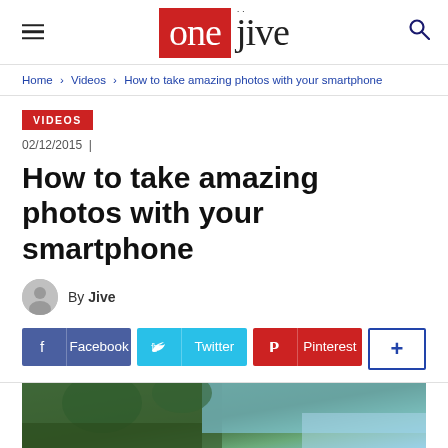one jive — logo with hamburger menu and search icon
Home › Videos › How to take amazing photos with your smartphone
VIDEOS
02/12/2015  |
How to take amazing photos with your smartphone
By Jive
Facebook  Twitter  Pinterest  +
[Figure (photo): Person holding smartphone outdoors with trees and blue sky in background]